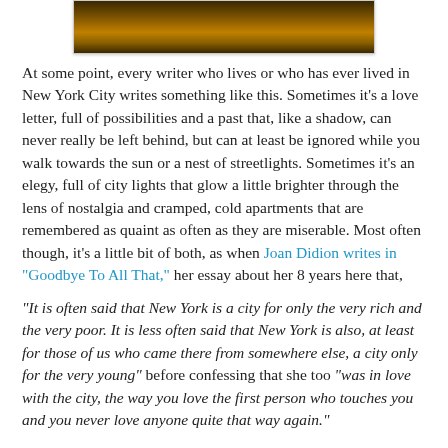[Figure (photo): Partial view of an outdoor autumn scene with golden/brown leaves on the ground, dark background, bottom portion of an image cropped at the top of the page.]
At some point, every writer who lives or who has ever lived in New York City writes something like this. Sometimes it's a love letter, full of possibilities and a past that, like a shadow, can never really be left behind, but can at least be ignored while you walk towards the sun or a nest of streetlights. Sometimes it's an elegy, full of city lights that glow a little brighter through the lens of nostalgia and cramped, cold apartments that are remembered as quaint as often as they are miserable. Most often though, it's a little bit of both, as when Joan Didion writes in "Goodbye To All That," her essay about her 8 years here that,
"It is often said that New York is a city for only the very rich and the very poor. It is less often said that New York is also, at least for those of us who came there from somewhere else, a city only for the very young" before confessing that she too "was in love with the city, the way you love the first person who touches you and you never love anyone quite that way again."